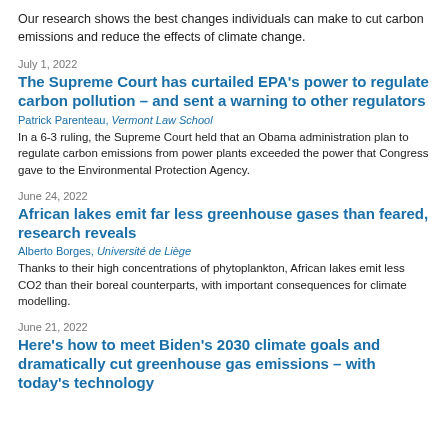Our research shows the best changes individuals can make to cut carbon emissions and reduce the effects of climate change.
July 1, 2022
The Supreme Court has curtailed EPA's power to regulate carbon pollution – and sent a warning to other regulators
Patrick Parenteau, Vermont Law School
In a 6-3 ruling, the Supreme Court held that an Obama administration plan to regulate carbon emissions from power plants exceeded the power that Congress gave to the Environmental Protection Agency.
June 24, 2022
African lakes emit far less greenhouse gases than feared, research reveals
Alberto Borges, Université de Liège
Thanks to their high concentrations of phytoplankton, African lakes emit less CO2 than their boreal counterparts, with important consequences for climate modelling.
June 21, 2022
Here's how to meet Biden's 2030 climate goals and dramatically cut greenhouse gas emissions – with today's technology